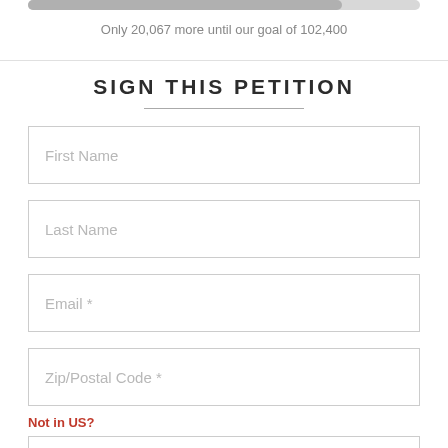[Figure (other): Progress bar showing petition signatures, approximately 80% filled]
Only 20,067 more until our goal of 102,400
SIGN THIS PETITION
First Name
Last Name
Email *
Zip/Postal Code *
Not in US?